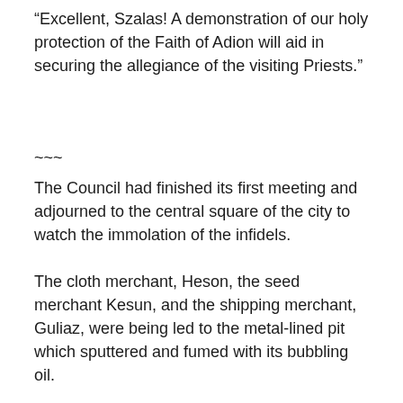“Excellent, Szalas! A demonstration of our holy protection of the Faith of Adion will aid in securing the allegiance of the visiting Priests.”
~~~
The Council had finished its first meeting and adjourned to the central square of the city to watch the immolation of the infidels.
The cloth merchant, Heson, the seed merchant Kesun, and the shipping merchant, Guliaz, were being led to the metal-lined pit which sputtered and fumed with its bubbling oil.
They all showed signs of torture—holy torture designed to save their souls and give them the chance to recant their